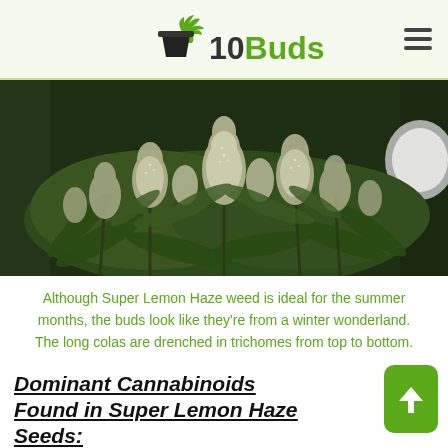10Buds
[Figure (photo): Close-up photograph of Super Lemon Haze cannabis plants with dense white trichome-covered buds and green leaves, indoor grow setup]
Although Super Lemon Haze weed is ideal for the summer months, the buds look like they're from a winter wonderland. The long colas are drenched in trichomes from top to bottom.
Dominant Cannabinoids Found in Super Lemon Haze Seeds:
Super Lemon Haze weed is abundant in THC.